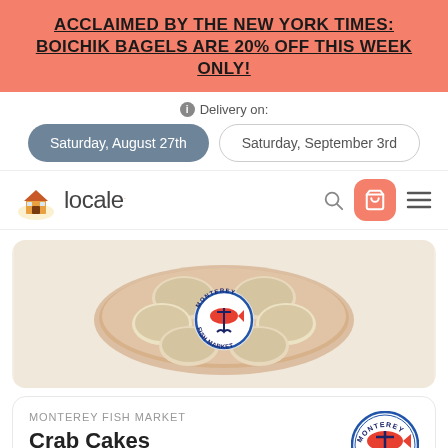ACCLAIMED BY THE NEW YORK TIMES: BOICHIK BAGELS ARE 20% OFF THIS WEEK ONLY!
Delivery on:
Saturday, August 27th
Saturday, September 3rd
[Figure (logo): Locale marketplace logo with house icon]
[Figure (photo): Crab cakes in a plastic container with Monterey Fish Market sticker label]
MONTEREY FISH MARKET
Crab Cakes
[Figure (logo): Monterey Fish Market circular logo with red fish and anchor]